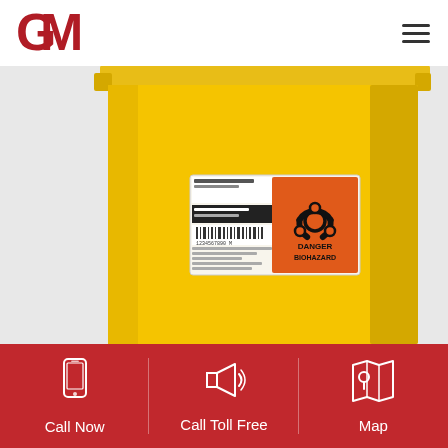[Figure (logo): GM Pearson company logo in red]
[Figure (photo): Yellow biohazard medical waste container with orange biohazard danger label on front]
Call Now
Call Toll Free
Map